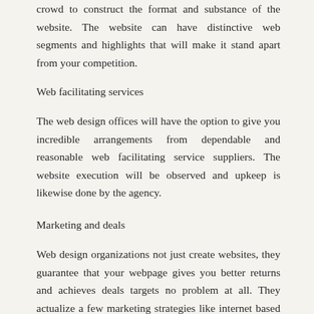crowd to construct the format and substance of the website. The website can have distinctive web segments and highlights that will make it stand apart from your competition.
Web facilitating services
The web design offices will have the option to give you incredible arrangements from dependable and reasonable web facilitating service suppliers. The website execution will be observed and upkeep is likewise done by the agency.
Marketing and deals
Web design organizations not just create websites, they guarantee that your webpage gives you better returns and achieves deals targets no problem at all. They actualize a few marketing strategies like internet based life marketing, email marketing, standard notices and site design improvement and marketing.